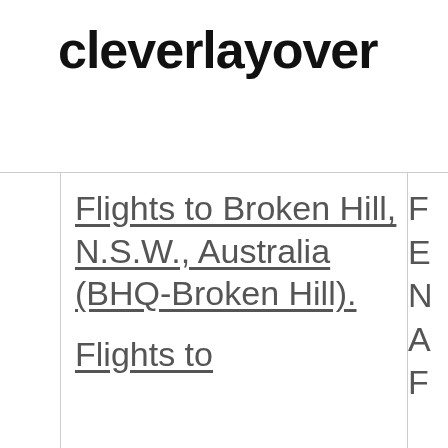cleverlayover
Flights to Broken Hill, N.S.W., Australia (BHQ-Broken Hill).
Flights to